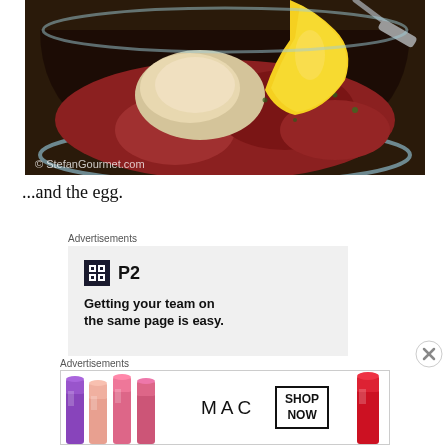[Figure (photo): A glass bowl containing ground meat mixed with breadcrumbs, herbs, and yellow egg being poured in from a bowl above, with a spoon visible. Watermark reads '© StefanGourmet.com']
...and the egg.
Advertisements
[Figure (infographic): Advertisement for P2 product with dark logo box showing 'H' icon and text 'P2' followed by tagline 'Getting your team on the same page is easy.']
Advertisements
[Figure (infographic): MAC cosmetics advertisement showing colorful lipsticks (purple, peach, pink tones) on left, MAC logo in center, SHOP NOW box, and red lipstick on right.]